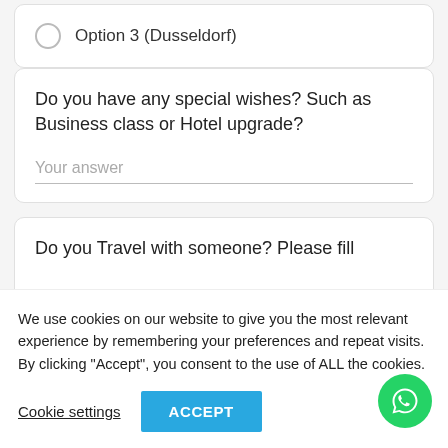Option 3 (Dusseldorf)
Do you have any special wishes? Such as Business class or Hotel upgrade?
Your answer
Do you Travel with someone? Please fill
We use cookies on our website to give you the most relevant experience by remembering your preferences and repeat visits. By clicking "Accept", you consent to the use of ALL the cookies.
Cookie settings
ACCEPT